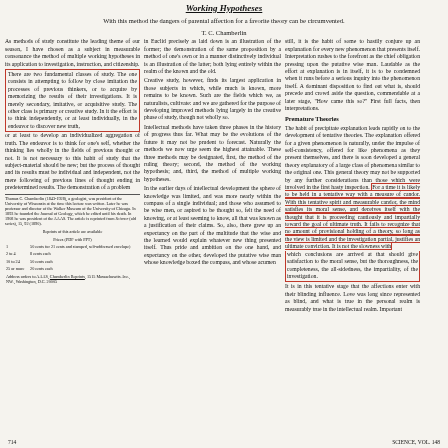Working Hypotheses
With this method the dangers of parental affection for a favorite theory can be circumvented.
T. C. Chamberlin
As methods of study constitute the leading theme of our season, I have chosen as a subject in measurable consonance the method of multiple working hypotheses in its application to investigation, instruction, and citizenship.
There are two fundamental classes of study. The one consists in attempting to follow by close imitation the processes of previous thinkers, or to acquire by memorizing the results of their investigations. It is merely secondary, imitative, or acquisitive study. The other class is primary or creative study. In it the effort is to think independently, or at least individually, in the endeavor to discover new truth, or to make new combinations of truth, or at least to develop an individualized aggregation of truth. The endeavor is to think for one's self, whether the thinking lies wholly in the fields of previous thought or not. It is not necessary to this habit of study that the subject-material should be new; but the process of thought and its results must be individual and independent, not the mere following of previous lines of thought ending in predetermined results. The demonstration of a problem
in Euclid precisely as laid down is an illustration of the former; the demonstration of the same proposition by a method of one's own or in a manner distinctively individual is an illustration of the latter; both lying entirely within the realm of the known and the old.
Creative study, however, finds its largest application in those subjects in which, while much is known, more remains to be known. Such are the fields which we, as naturalists, cultivate: and we are gathered for the purpose of developing improved methods lying largely in the creative phase of study, though not wholly so.
Intellectual methods have taken three phases in the history of progress thus far. What may be the evolutions of the future it may not be prudent to forecast. Naturally the methods we now urge seem the highest attainable. These three methods may be designated, first, the method of the ruling theory; second, the method of the working hypothesis; and, third, the method of multiple working hypotheses.
In the earlier days of intellectual development the sphere of knowledge was limited, and was more nearly within the compass of a single individual; and those who assumed to be wise men, or aspired to be thought so, felt the need of knowing, or at least seeming to know, all that was known as a justification of their claims. So, also, there grew up an expectancy on the part of the multitude that the wise and the learned would explain whatever new thing presented itself. Thus pride and ambition on the one hand, and expectancy on the other, developed the putative wise man whose knowledge boxed the compass, and whose acumen
still, it is the habit of some to hastily conjure up an explanation for every new phenomenon that presents itself. Interpretation rushes to the forefront as the chief obligation pressing upon the putative wise man. Laudable as the effort at explanation is in itself, it is to be condemned when it runs before a serious inquiry into the phenomenon itself. A dominant disposition to find out what is, should precede and crowd aside the question, commendable at a later stage, "How came this so?" First full facts, then interpretations.
Premature Theories
The habit of precipitate explanation leads rapidly on to the development of tentative theories. The explanation offered for a given phenomenon is naturally, under the impulse of self-consistency, offered for like phenomena as they present themselves, and there is soon developed a general theory explanatory of a large class of phenomena similar to the original one. This general theory may not be supported by any further considerations than those which were involved in the first hasty inspection. For a time it is likely to be held in a tentative way with a measure of candor. With this tentative spirit and measurable candor, the mind satisfies its moral sense, and deceives itself with the thought that it is proceeding cautiously and impartially toward the goal of ultimate truth. It fails to recognize that no amount of provisional holding of a theory, so long as the view is limited and the investigation partial, justifies an ultimate conviction. It is not the slowness with which conclusions are arrived at that should give satisfaction to the moral sense, but the thoroughness, the completeness, the all-sidedness, the impartiality, of the investigation.
It is in this tentative stage that the affections enter with their blinding influence. Love was long since represented as blind, and what is true in the personal realm is measurably true in the intellectual realm. Important
Thomas C. Chamberlin (1843-1928), a geologist, was president of the University of Wisconsin at the time this lecture was written. Later he was professor and director of the Walker Museum of the University of Chicago. In 1893 he founded the Journal of Geology, which he edited until his death. In 1908 he was president of the AAAS. This article is reprinted from Science (old series). 15, 92 (1890).
| Reprints of this article are available |
| Prices (PDF with PPT) |
| 1 | 50 cents for 21 cents and stamped, self-addressed envelope) |
| 2 to 4 | 8 cents each |
| 10 to 24 | 50 cents each |
| 25 or more | 20 cents each |
| Address orders to AAAS, Chamberlin Reprints, 1515 Massachusetts Ave., NW., Washington, D.C. 20005 |
714
SCIENCE, VOL. 148